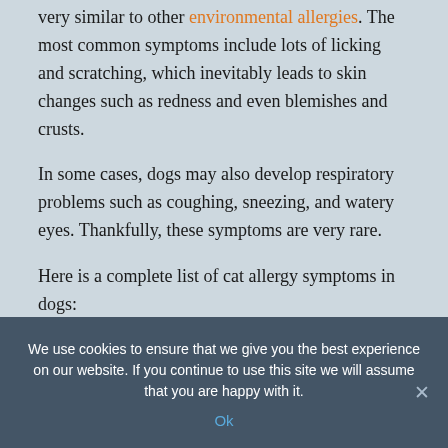very similar to other environmental allergies. The most common symptoms include lots of licking and scratching, which inevitably leads to skin changes such as redness and even blemishes and crusts.
In some cases, dogs may also develop respiratory problems such as coughing, sneezing, and watery eyes. Thankfully, these symptoms are very rare.
Here is a complete list of cat allergy symptoms in dogs:
Excessive ear discharge
We use cookies to ensure that we give you the best experience on our website. If you continue to use this site we will assume that you are happy with it.
Ok